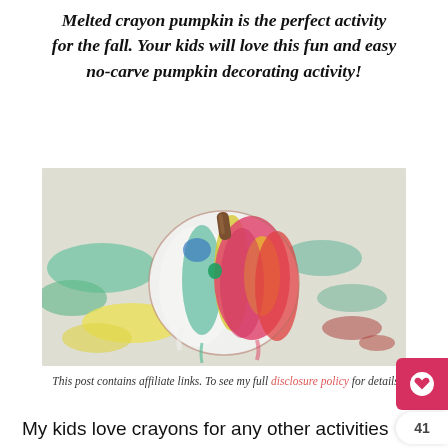Melted crayon pumpkin is the perfect activity for the fall. Your kids will love this fun and easy no-carve pumpkin decorating activity!
[Figure (photo): A pumpkin decorated with melted crayons in multiple colors (white, teal, green, pink, red, yellow) sitting on a white surface covered with dripped wax colors.]
This post contains affiliate links. To see my full disclosure policy for details.
My kids love crayons for any other activities